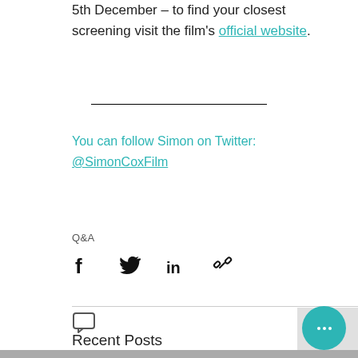5th December – to find your closest screening visit the film's official website.
You can follow Simon on Twitter: @SimonCoxFilm
Q&A
[Figure (other): Social sharing icons: Facebook, Twitter, LinkedIn, link/chain]
[Figure (other): Comment icon and back-to-top button]
Recent Posts
[Figure (other): Chat bubble widget button (teal)]
[Figure (photo): Thumbnail strip of recent post images at the bottom]